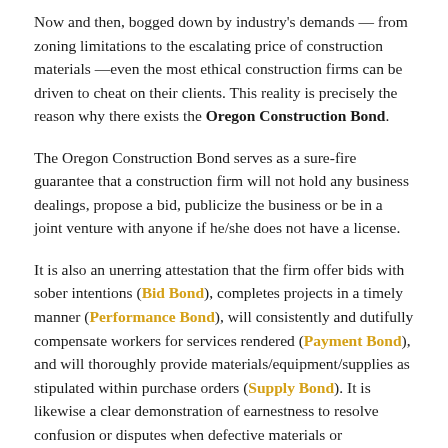Now and then, bogged down by industry's demands — from zoning limitations to the escalating price of construction materials —even the most ethical construction firms can be driven to cheat on their clients. This reality is precisely the reason why there exists the Oregon Construction Bond.
The Oregon Construction Bond serves as a sure-fire guarantee that a construction firm will not hold any business dealings, propose a bid, publicize the business or be in a joint venture with anyone if he/she does not have a license.
It is also an unerring attestation that the firm offer bids with sober intentions (Bid Bond), completes projects in a timely manner (Performance Bond), will consistently and dutifully compensate workers for services rendered (Payment Bond), and will thoroughly provide materials/equipment/supplies as stipulated within purchase orders (Supply Bond). It is likewise a clear demonstration of earnestness to resolve confusion or disputes when defective materials or workmanship has been divulged (Maintenance Bond), and will build or renovate